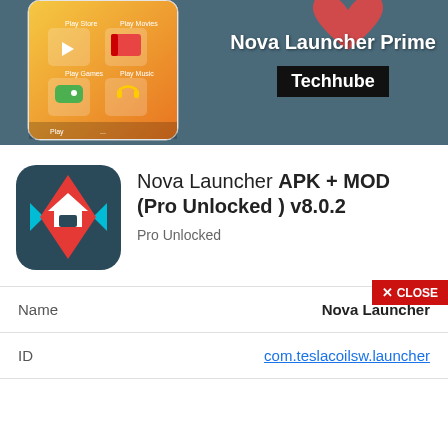[Figure (screenshot): Banner image showing Nova Launcher Prime branding with a phone mockup on left and 'Nova Launcher Prime' text and 'Techhube' badge on right against a dark teal background]
[Figure (logo): Nova Launcher app icon: dark teal rounded square with red diamond shape, white house icon, and teal arrows]
Nova Launcher APK + MOD (Pro Unlocked ) v8.0.2
Pro Unlocked
| Name | Nova Launcher |
| --- | --- |
| ID | com.teslacoilsw.launcher |